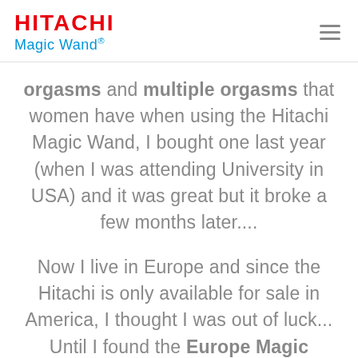HITACHI Magic Wand®
orgasms and multiple orgasms that women have when using the Hitachi Magic Wand, I bought one last year (when I was attending University in USA) and it was great but it broke a few months later....
Now I live in Europe and since the Hitachi is only available for sale in America, I thought I was out of luck... Until I found the Europe Magic Wand! It is the European version of the Hitachi Magic Wand